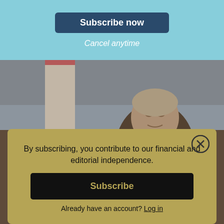L  [hamburger menu] [Subscribe button]
[Figure (photo): Elderly man in dark suit speaking at a podium with a microphone, Lebanese flag visible in background, crowd scene behind]
Subscribe now
Cancel anytime
By subscribing, you contribute to our financial and editorial independence.
Subscribe
Already have an account? Log in